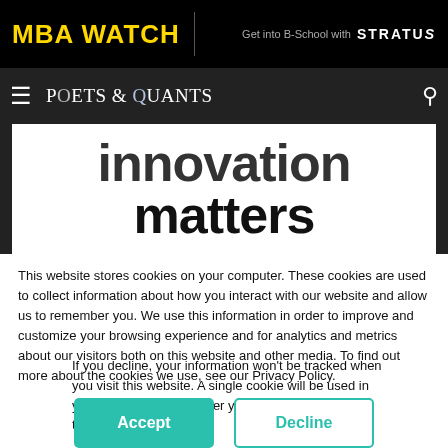MBA WATCH | Get into B-School with STRATUS
POETS & QUANTS
innovation matters
This website stores cookies on your computer. These cookies are used to collect information about how you interact with our website and allow us to remember you. We use this information in order to improve and customize your browsing experience and for analytics and metrics about our visitors both on this website and other media. To find out more about the cookies we use, see our Privacy Policy.
If you decline, your information won't be tracked when you visit this website. A single cookie will be used in your browser to remember your preference not to be tracked.